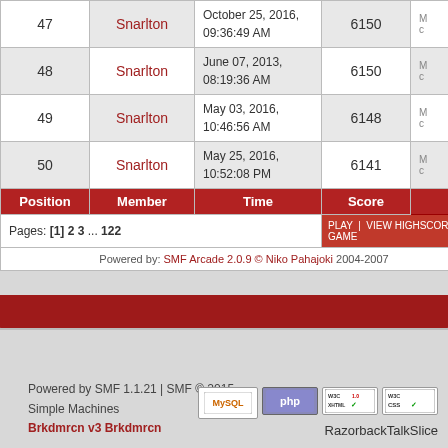| Position | Member | Time | Score |
| --- | --- | --- | --- |
| 47 | Snarlton | October 25, 2016, 09:36:49 AM | 6150 |
| 48 | Snarlton | June 07, 2013, 08:19:36 AM | 6150 |
| 49 | Snarlton | May 03, 2016, 10:46:56 AM | 6148 |
| 50 | Snarlton | May 25, 2016, 10:52:08 PM | 6141 |
Pages: [1] 2 3 ... 122
PLAY | VIEW HIGHSCORES | RA... GAME
Powered by: SMF Arcade 2.0.9 © Niko Pahajoki 2004-2007
Powered by SMF 1.1.21 | SMF © 2015, Simple Machines Brkdmrcn v3 Brkdmrcn
[Figure (logo): MySQL, PHP, W3C XHTML 1.0, W3C CSS badges and RazorbackTalkSlice text]